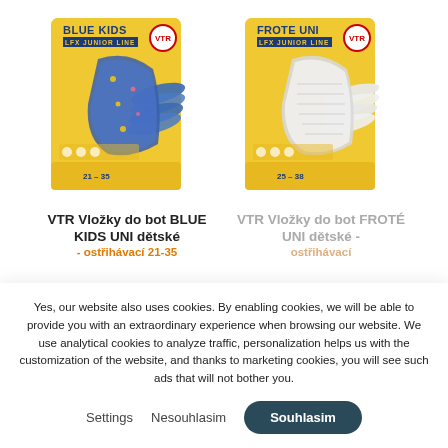[Figure (photo): VTR Vložky do bot BLUE KIDS UNI dětské product package — yellow box with blue insoles, junior line branding]
[Figure (photo): VTR Vložky do bot FROTÉ UNI dětské product package — yellow box with white/light insoles, junior line branding]
VTR Vložky do bot BLUE KIDS UNI dětské - ostřihávací 21-35
VTR Vložky do bot FROTÉ UNI dětské - ostřihávací
Yes, our website also uses cookies. By enabling cookies, we will be able to provide you with an extraordinary experience when browsing our website. We use analytical cookies to analyze traffic, personalization helps us with the customization of the website, and thanks to marketing cookies, you will see such ads that will not bother you.
Settings
Nesouhlasim
Souhlasim